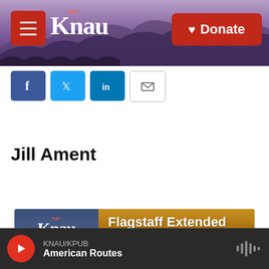[Figure (screenshot): KNAU NPR radio station website header with purple mountain background, red hamburger menu button, KNAU logo in white, and red Donate button]
[Figure (screenshot): Social sharing icons: Facebook (blue), Twitter (blue), LinkedIn (blue), Email (white/gray border)]
Jill Ament
[Figure (screenshot): KNAU Flagstaff Extended Forecast weather widget showing days Mon, Tue, Wed, Thu, Fri with sky and clouds background]
[Figure (screenshot): Audio player bar showing KNAU/KPUB station playing American Routes with red play button and audio waveform icon]